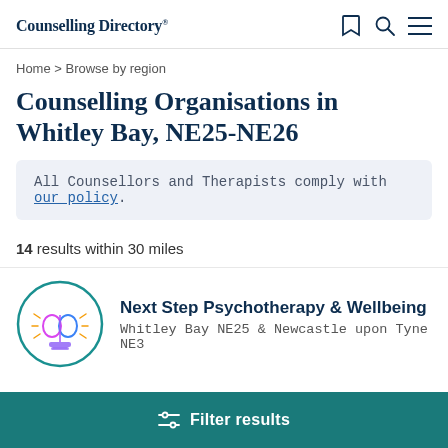Counselling Directory
Home > Browse by region
Counselling Organisations in Whitley Bay, NE25-NE26
All Counsellors and Therapists comply with our policy.
14 results within 30 miles
Next Step Psychotherapy & Wellbeing
Whitley Bay NE25 & Newcastle upon Tyne NE3
Filter results